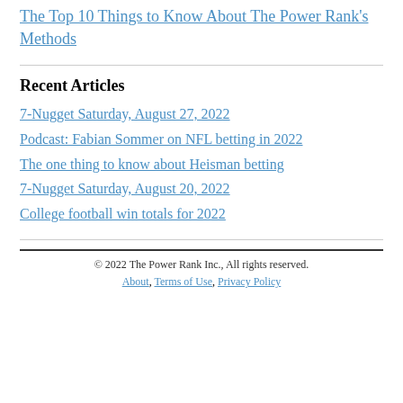The Top 10 Things to Know About The Power Rank's Methods
Recent Articles
7-Nugget Saturday, August 27, 2022
Podcast: Fabian Sommer on NFL betting in 2022
The one thing to know about Heisman betting
7-Nugget Saturday, August 20, 2022
College football win totals for 2022
© 2022 The Power Rank Inc., All rights reserved. About, Terms of Use, Privacy Policy